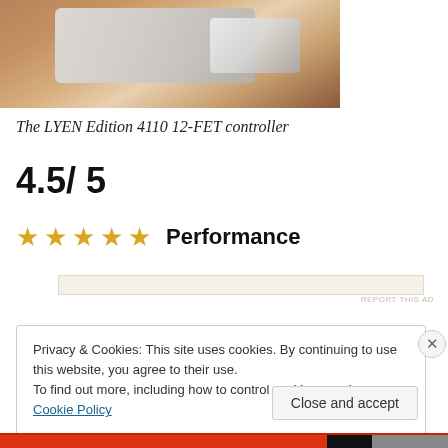[Figure (photo): Partial photo of the LYEN Edition 4110 12-FET controller hardware on a wooden surface]
The LYEN Edition 4110 12-FET controller
4.5/ 5
★★★★★ Performance
Privacy & Cookies: This site uses cookies. By continuing to use this website, you agree to their use. To find out more, including how to control cookies, see here: Cookie Policy